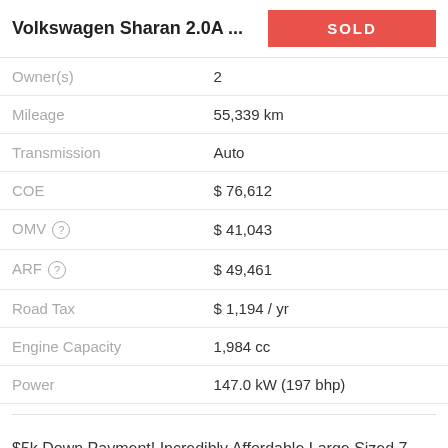Volkswagen Sharan 2.0A ...
| Label | Value |
| --- | --- |
| Owner(s) | 2 |
| Mileage | 55,339 km |
| Transmission | Auto |
| COE | $ 76,612 |
| OMV | $ 41,043 |
| ARF | $ 49,461 |
| Road Tax | $ 1,194 / yr |
| Engine Capacity | 1,984 cc |
| Power | 147.0 kW (197 bhp) |
$5k Down Payment! Incredibly Affordable Large Sized 7 Seater Mpv! Perfect For Big Families. Full Specs Sunroof